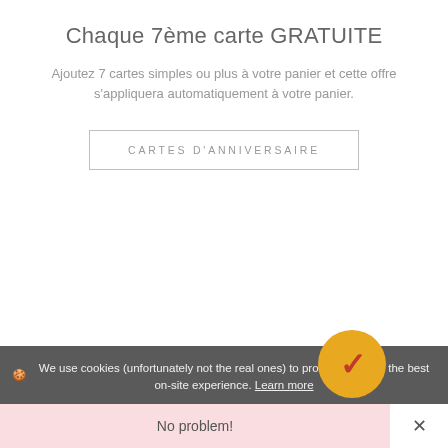Chaque 7ème carte GRATUITE
Ajoutez 7 cartes simples ou plus à votre panier et cette offre s'appliquera automatiquement à votre panier.
CARTES D'ANNIVERSAIRE
🍪 We use cookies (unfortunately not the real ones) to provide you with the best on-site experience. Learn more
No problem!